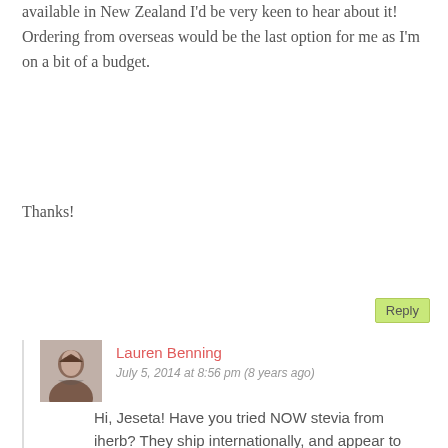available in New Zealand I'd be very keen to hear about it! Ordering from overseas would be the last option for me as I'm on a bit of a budget.
Thanks!
Reply
Lauren Benning
July 5, 2014 at 8:56 pm (8 years ago)
Hi, Jeseta! Have you tried NOW stevia from iherb? They ship internationally, and appear to have very competitive prices. I posted this link during my recent update of the page. Here it is for you:
http://www.iherb.com/now-foods-certified-organic-betterstevia-extract-powder-1-oz-28-